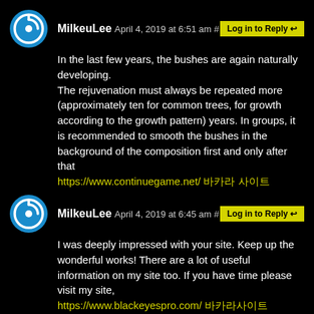MilkeuLee April 4, 2019 at 6:51 am # Log in to Reply
In the last few years, the bushes are again naturally developing.
The rejuvenation must always be repeated more (approximately ten for common trees, for growth according to the growth pattern) years. In groups, it is recommended to smooth the bushes in the background of the composition first and only after that
https://www.continuegame.net/ 바카라 사이트
MilkeuLee April 4, 2019 at 6:45 am # Log in to Reply
I was deeply impressed with your site. Keep up the wonderful works! There are a lot of useful information on my site too. If you have time please visit my site,
https://www.blackeyespro.com/ 바카라사이트